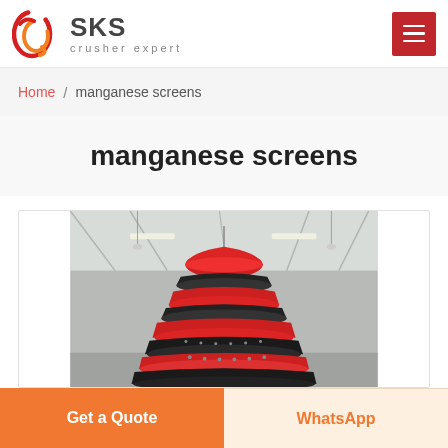SKS crusher expert
Home / manganese screens
manganese screens
[Figure (photo): Industrial cone crusher machine with red and black layered body, photographed from below inside a factory/warehouse with steel roof structure. The machine has a distinctive stacked disc shape with alternating red metal shells and dark rubber/metal rings.]
Get a Quote
WhatsApp